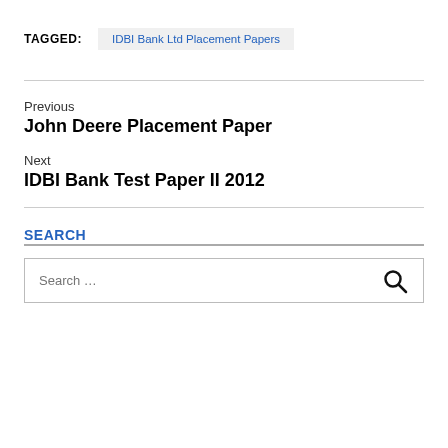TAGGED: IDBI Bank Ltd Placement Papers
Previous
John Deere Placement Paper
Next
IDBI Bank Test Paper II 2012
SEARCH